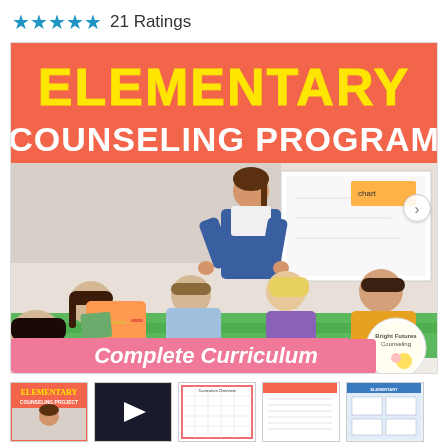★★★★★ 21 Ratings
[Figure (illustration): Elementary Counseling Program Complete Curriculum cover image showing a teacher leaning over a table helping children with an activity, with bright coral/orange banner at top reading ELEMENTARY COUNSELING PROGRAM in yellow and white text, and a pink banner at bottom reading Complete Curriculum]
[Figure (photo): Five thumbnail preview images of the Elementary Counseling Program product including cover image, video play button thumbnail, curriculum overview chart, worksheet pages, and additional resource pages]